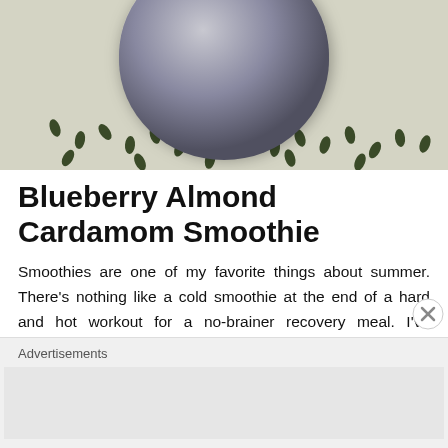[Figure (photo): Photo of a gray yarn spool/bobbin sitting on a surface covered with seeds (appears to be pumpkin or similar seeds) on a decorative fabric background]
Blueberry Almond Cardamom Smoothie
Smoothies are one of my favorite things about summer. There's nothing like a cold smoothie at the end of a hard and hot workout for a no-brainer recovery meal. I've previously shared my other go-to peanut butter and
Advertisements